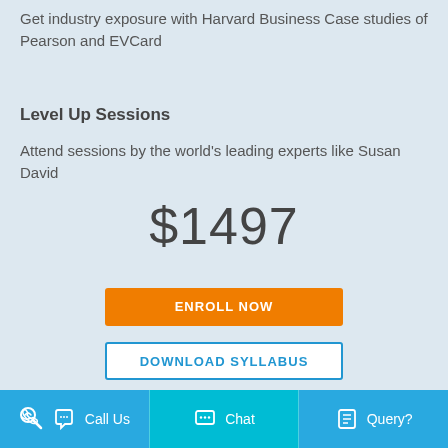Get industry exposure with Harvard Business Case studies of Pearson and EVCard
Level Up Sessions
Attend sessions by the world's leading experts like Susan David
$1497
ENROLL NOW
DOWNLOAD SYLLABUS
Call Us   Chat   Query?